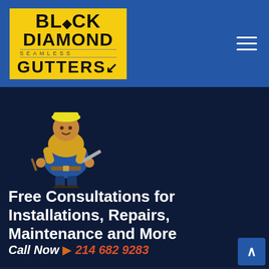[Figure (logo): Black Diamond Seamless Gutters logo on yellow background with diamond icon]
[Figure (illustration): Cartoon mascot: a worker in blue overalls and yellow jacket with tools, holding a gutter piece]
Free Consultations for Installations, Repairs, Maintenance and More
Call Now 👉  214 682 9283
Contact Us
Black Diamond Seamless Gutters
18050 Kelly Blvd